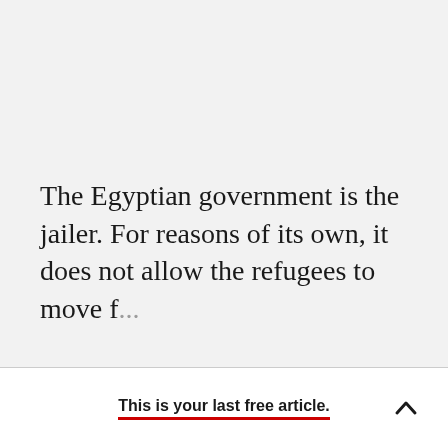The Egyptian government is the jailer. For reasons of its own, it does not allow the refugees to move f...
This is your last free article.